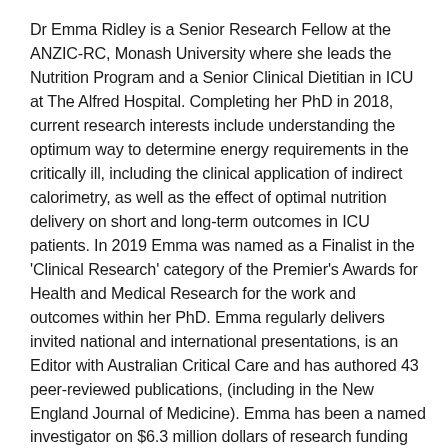Dr Emma Ridley is a Senior Research Fellow at the ANZIC-RC, Monash University where she leads the Nutrition Program and a Senior Clinical Dietitian in ICU at The Alfred Hospital. Completing her PhD in 2018, current research interests include understanding the optimum way to determine energy requirements in the critically ill, including the clinical application of indirect calorimetry, as well as the effect of optimal nutrition delivery on short and long-term outcomes in ICU patients. In 2019 Emma was named as a Finalist in the 'Clinical Research' category of the Premier's Awards for Health and Medical Research for the work and outcomes within her PhD. Emma regularly delivers invited national and international presentations, is an Editor with Australian Critical Care and has authored 43 peer-reviewed publications, (including in the New England Journal of Medicine). Emma has been a named investigator on $6.3 million dollars of research funding with the teams she collaborates with and is the CIA on the INTENT trial